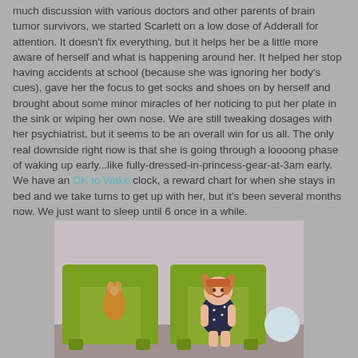much discussion with various doctors and other parents of brain tumor survivors, we started Scarlett on a low dose of Adderall for attention. It doesn't fix everything, but it helps her be a little more aware of herself and what is happening around her. It helped her stop having accidents at school (because she was ignoring her body's cues), gave her the focus to get socks and shoes on by herself and brought about some minor miracles of her noticing to put her plate in the sink or wiping her own nose. We are still tweaking dosages with her psychiatrist, but it seems to be an overall win for us all. The only real downside right now is that she is going through a loooong phase of waking up early...like fully-dressed-in-princess-gear-at-3am early. We have an OK to Wake clock, a reward chart for when she stays in bed and we take turns to get up with her, but it's been several months now. We just want to sleep until 6 once in a while.
[Figure (photo): A young girl with pigtails sitting in a green armchair, smiling. A stuffed kangaroo toy sits in an adjacent green armchair. The setting appears to be a medical waiting room or clinic.]